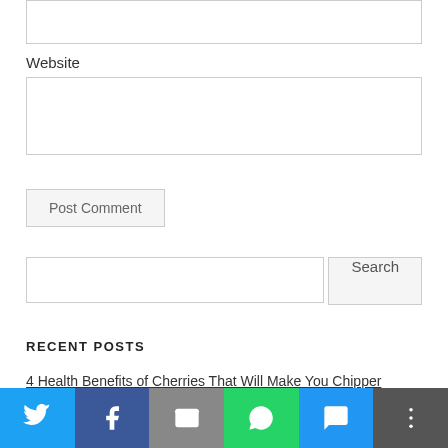Website
Post Comment
Search
RECENT POSTS
4 Health Benefits of Cherries That Will Make You Chipper
5 Last Minute Summer Activities That Don't Require Planning
5 Reasons to Support Your Local farmers Market
Health Benefits of Sparkling Water